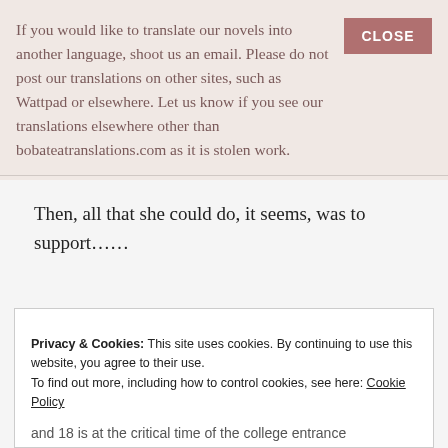If you would like to translate our novels into another language, shoot us an email. Please do not post our translations on other sites, such as Wattpad or elsewhere. Let us know if you see our translations elsewhere other than bobateatranslations.com as it is stolen work.
CLOSE
Then, all that she could do, it seems, was to support……
Privacy & Cookies: This site uses cookies. By continuing to use this website, you agree to their use.
To find out more, including how to control cookies, see here: Cookie Policy
Close and accept
and 18 is at the critical time of the college entrance